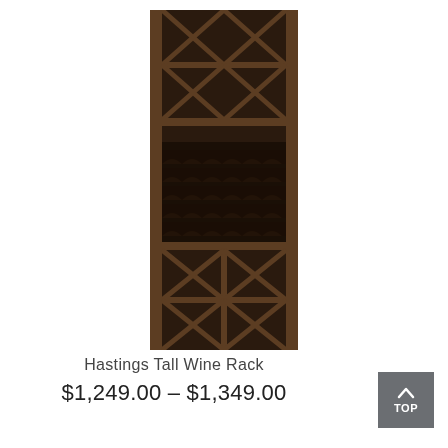[Figure (photo): A tall dark wood wine rack with X-pattern cubby sections at top and bottom and horizontal bottle storage rows in the middle section]
Hastings Tall Wine Rack
$1,249.00 – $1,349.00